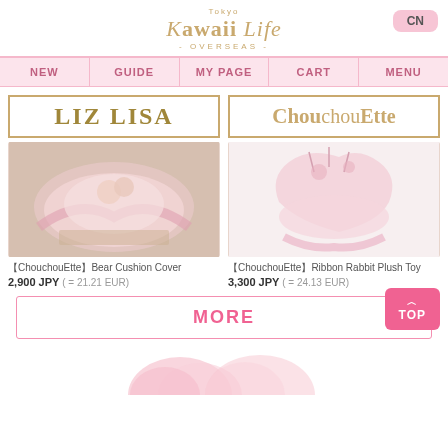Tokyo Kawaii Life OVERSEAS - CN
NEW | GUIDE | MY PAGE | CART | MENU
[Figure (logo): LIZ LISA brand logo in gold serif font with border]
[Figure (logo): ChouchouEtte brand logo in light tan serif font]
[Figure (photo): Pink ruffled cushion cover product photo]
[Figure (photo): Pink ribbon rabbit plush toy product photo]
【ChouchouEtte】Bear Cushion Cover
2,900 JPY ( = 21.21 EUR)
【ChouchouEtte】Ribbon Rabbit Plush Toy
3,300 JPY ( = 24.13 EUR)
MORE